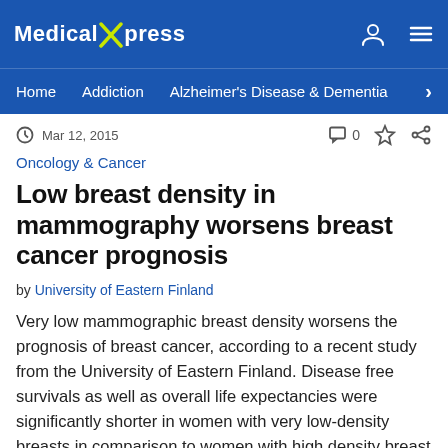Medical Xpress
Home  Addiction  Alzheimer's Disease & Dementia
Mar 12, 2015  0
Oncology & Cancer
Low breast density in mammography worsens breast cancer prognosis
by University of Eastern Finland
Very low mammographic breast density worsens the prognosis of breast cancer, according to a recent study from the University of Eastern Finland. Disease free survivals as well as overall life expectancies were significantly shorter in women with very low-density breasts in comparison to women with high density breast